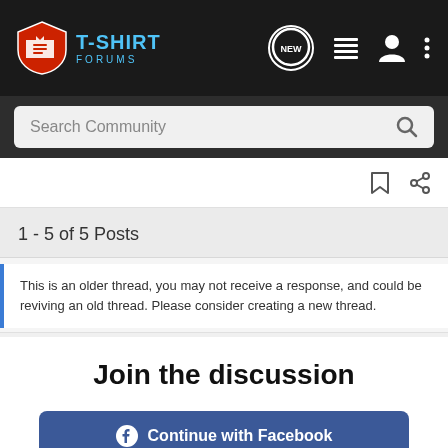[Figure (logo): T-Shirt Forums logo with shield icon and navigation bar icons (NEW bubble, list icon, user icon, three dots menu)]
[Figure (screenshot): Search Community input bar with magnifying glass icon]
[Figure (screenshot): Toolbar with bookmark and share icons]
1 - 5 of 5 Posts
This is an older thread, you may not receive a response, and could be reviving an old thread. Please consider creating a new thread.
Join the discussion
Continue with Facebook
Continue with Google